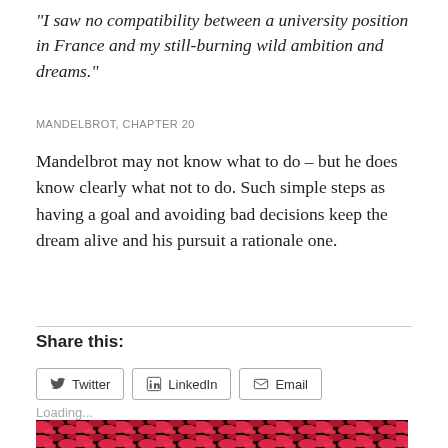“I saw no compatibility between a university position in France and my still-burning wild ambition and dreams.”
MANDELBROT, CHAPTER 20
Mandelbrot may not know what to do – but he does know clearly what not to do. Such simple steps as having a goal and avoiding bad decisions keep the dream alive and his pursuit a rationale one.
Share this:
Twitter
LinkedIn
Email
Loading...
[Figure (photo): Fractal image with red and black pattern, partially visible at bottom of page]